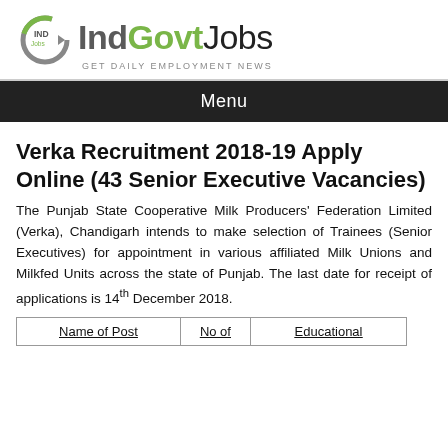[Figure (logo): IndGovtJobs logo with circular G icon in green/grey and site name, tagline GET DAILY EMPLOYMENT NEWS]
Menu
Verka Recruitment 2018-19 Apply Online (43 Senior Executive Vacancies)
The Punjab State Cooperative Milk Producers' Federation Limited (Verka), Chandigarh intends to make selection of Trainees (Senior Executives) for appointment in various affiliated Milk Unions and Milkfed Units across the state of Punjab. The last date for receipt of applications is 14th December 2018.
| Name of Post | No of | Educational |
| --- | --- | --- |